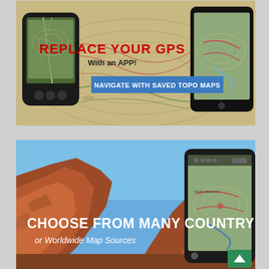[Figure (screenshot): Promotional image for a GPS replacement app. Shows a cracked GPS device and a smartphone displaying topographic maps on a topo map background. Red bold text: 'REPLACE YOUR GPS', dark text: 'With an APP!', blue banner with white text: 'NAVIGATE WITH SAVED TOPO MAPS'.]
[Figure (screenshot): Promotional image for a mapping app. Shows a canyon landscape (red rock cliffs, blue sky) with a smartphone displaying topo maps. White bold text: 'CHOOSE FROM MANY COUNTRY', italic text: 'or Worldwide Map Sources'. Green scroll-to-top button at bottom right.]